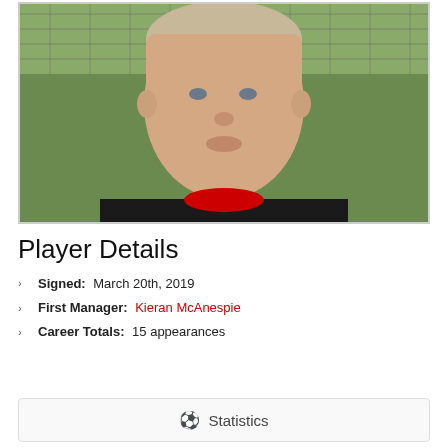[Figure (photo): Headshot photo of a young male football player wearing a black jersey with red collar, taken outdoors near a fence with green grass in the background.]
Player Details
Signed: March 20th, 2019
First Manager: Kieran McAnespie
Career Totals: 15 appearances
Statistics